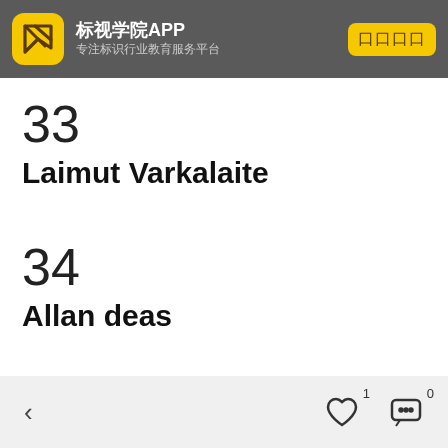标视学院APP 专注标识行业教育服务平台
33
Laimut Varkalaite
34
Allan deas
< ♡ 1  … 0